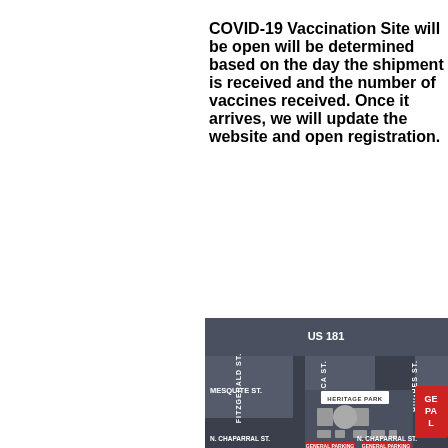COVID-19 Vaccination Site will be open will be determined based on the day the shipment is received and the number of vaccines received. Once it arrives, we will update the website and open registration.
[Figure (map): Street map showing Heritage Park area in Corpus Christi, TX with streets US 181, Fitzgerald St., Resaca St., Hughes St., Mesquite St., N. Chaparral St. and General Parking areas marked in red.]